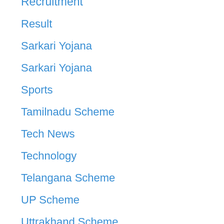Recruitment
Result
Sarkari Yojana
Sarkari Yojana
Sports
Tamilnadu Scheme
Tech News
Technology
Telangana Scheme
UP Scheme
Uttrakhand Scheme
West Bengal Scheme